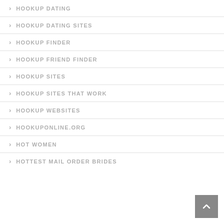> HOOKUP DATING
> HOOKUP DATING SITES
> HOOKUP FINDER
> HOOKUP FRIEND FINDER
> HOOKUP SITES
> HOOKUP SITES THAT WORK
> HOOKUP WEBSITES
> HOOKUPONLINE.ORG
> HOT WOMEN
> HOTTEST MAIL ORDER BRIDES